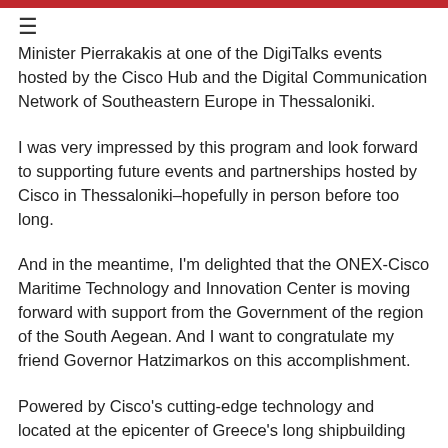≡
Minister Pierrakakis at one of the DigiTalks events hosted by the Cisco Hub and the Digital Communication Network of Southeastern Europe in Thessaloniki.
I was very impressed by this program and look forward to supporting future events and partnerships hosted by Cisco in Thessaloniki–hopefully in person before too long.
And in the meantime, I'm delighted that the ONEX-Cisco Maritime Technology and Innovation Center is moving forward with support from the Government of the region of the South Aegean. And I want to congratulate my friend Governor Hatzimarkos on this accomplishment.
Powered by Cisco's cutting-edge technology and located at the epicenter of Greece's long shipbuilding traditions, the